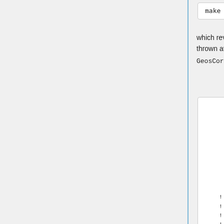make -j8 DEBUG=y BOUNDS=y FPEX=...
which revealed a a NaN error. This was thrown at line 903 of GeosCore/tomas_mod.F:
ERR_VAR = 'Gcout'
ERR_MSG = 'After COM...
! check for NaN and...
do jc = 1, icomp-1
   ERR_IND(1) = I
   ERR_IND(2) = J
   ERR_IND(3) = L
   ERR_IND(4) = 0
   call check_value...
!
!   if( IT_IS_FINIT...
!      print *,'xxx...
!      print *,'Loc...
!      call debugpr...
!      stop
!   endif